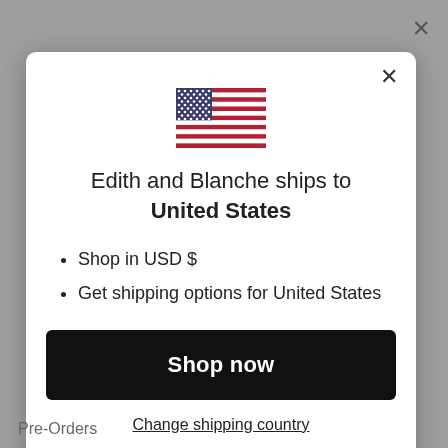[Figure (screenshot): A modal dialog on a e-commerce website. Background page is dimmed grey with an X close button in top right. The modal contains a US flag, heading text, bullet points, a Shop now button, and a Change shipping country link.]
Edith and Blanche ships to United States
Shop in USD $
Get shipping options for United States
Shop now
Change shipping country
Pre-Orders